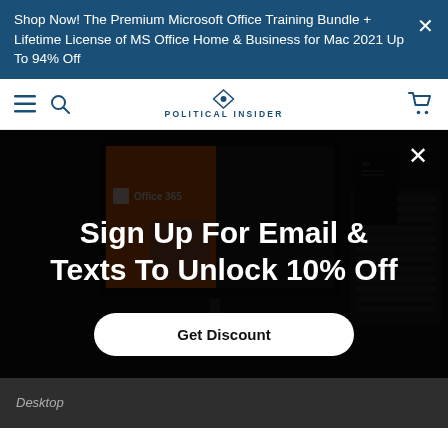Shop Now! The Premium Microsoft Office Training Bundle + Lifetime License of MS Office Home & Business for Mac 2021 Up To 94% Off
POLITICAL INSIDER
[Figure (screenshot): Product image showing Office 365 software on a monitor screen with a keyboard and desktop PC tower on a dark background]
Sign Up For Email & Texts To Unlock 10% Off
Get Discount
Desktop